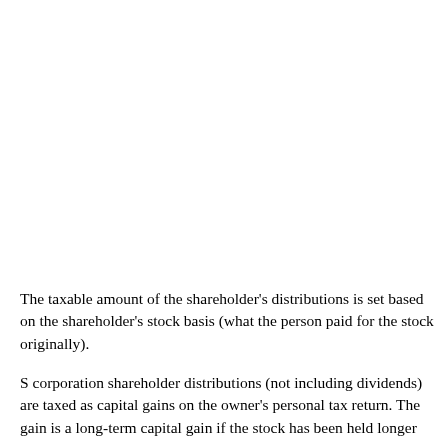The taxable amount of the shareholder's distributions is set based on the shareholder's stock basis (what the person paid for the stock originally).
S corporation shareholder distributions (not including dividends) are taxed as capital gains on the owner's personal tax return. The gain is a long-term capital gain if the stock has been held longer